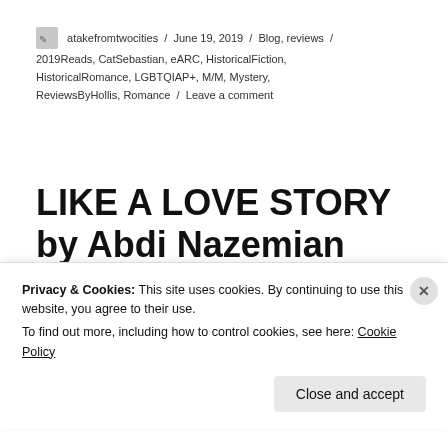atakefromtwocities / June 19, 2019 / Blog, reviews / 2019Reads, CatSebastian, eARC, HistoricalFiction, HistoricalRomance, LGBTQIAP+, M/M, Mystery, ReviewsByHollis, Romance / Leave a comment
LIKE A LOVE STORY by Abdi Nazemian
[Figure (photo): Book cover image partially visible, showing pink and illustrated art style]
Privacy & Cookies: This site uses cookies. By continuing to use this website, you agree to their use.
To find out more, including how to control cookies, see here: Cookie Policy